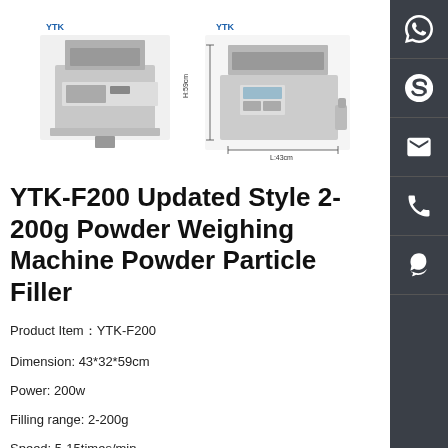[Figure (photo): Two product photos of YTK-F200 powder weighing machine, one side view and one front/dimensional view with measurement annotations]
YTK-F200 Updated Style 2-200g Powder Weighing Machine Powder Particle Filler
Product Item：YTK-F200
Dimension: 43*32*59cm
Power: 200w
Filling range: 2-200g
Speed: 5-15times/min
powder weighing machine , particle filler
[Figure (other): Social share buttons: Facebook, Twitter, Google+, LinkedIn]